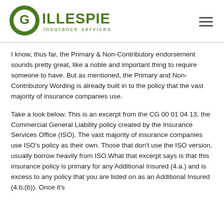[Figure (logo): Gillespie Insurance Services logo with green circular G icon and text]
I know, thus far, the Primary & Non-Contributory endorsement sounds pretty great, like a noble and important thing to require someone to have.  But as mentioned, the Primary and Non-Contributory Wording is already built in to the policy that the vast majority of insurance companies use.
Take a look below.  This is an excerpt from the CG 00 01 04 13, the Commercial General Liability policy created by the Insurance Services Office (ISO).  The vast majority of insurance companies use ISO's policy as their own.  Those that don't use the ISO version, usually borrow heavily from ISO.What that excerpt says is that this insurance policy is primary for any Additional Insured (4.a.) and is excess to any policy that you are listed on as an Additional Insured (4.b.(b)).  Once it's